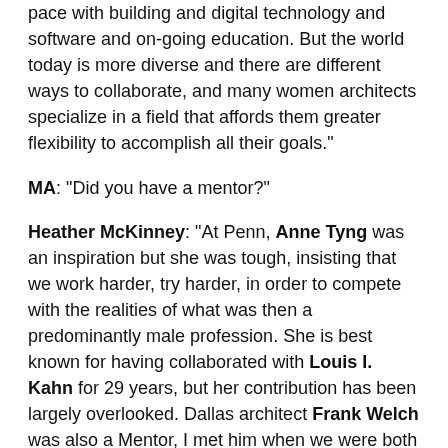difficult is challenging because of the necessity to keep pace with building and digital technology and software and on-going education. But the world today is more diverse and there are different ways to collaborate, and many women architects specialize in a field that affords them greater flexibility to accomplish all their goals."
MA: "Did you have a mentor?"
Heather McKinney: "At Penn, Anne Tyng was an inspiration but she was tough, insisting that we work harder, try harder, in order to compete with the realities of what was then a predominantly male profession. She is best known for having collaborated with Louis I. Kahn for 29 years, but her contribution has been largely overlooked. Dallas architect Frank Welch was also a Mentor, I met him when we were both working in Boston."